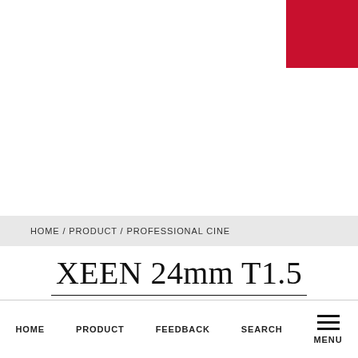[Figure (other): Red square block in top-right corner, brand logo area]
HOME / PRODUCT / PROFESSIONAL CINE
XEEN 24mm T1.5
HOME   PRODUCT   FEEDBACK   SEARCH   MENU